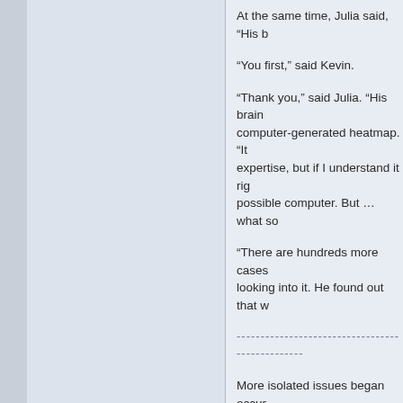At the same time, Julia said, “His b
“You first,” said Kevin.
“Thank you,” said Julia. “His brain computer-generated heatmap. “It expertise, but if I understand it rig possible computer. But … what so
“There are hundreds more cases looking into it. He found out that w
----------------------------------------------------------------
More isolated issues began occur computer lounges began to have results had been found.
“So you think someone hacked in Shilling, who had come immediate
“I don’t have any evidence that a only one who has a copy of the fi observing the job in transit… it wi